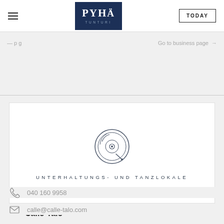Pyhä Tunturi — TODAY
Go to business page →
[Figure (logo): Vinyl/record icon representing Unterhaltungs- und Tanzlokale category]
UNTERHALTUNGS- UND TANZLOKALE
Calle-Talo
040 160 9958
calle@calle-talo.com